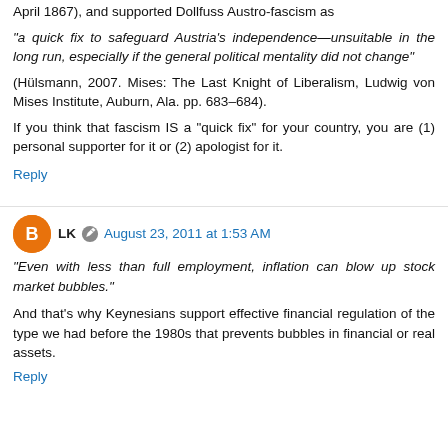April 1867), and supported Dollfuss Austro-fascism as
"a quick fix to safeguard Austria's independence—unsuitable in the long run, especially if the general political mentality did not change"
(Hülsmann, 2007. Mises: The Last Knight of Liberalism, Ludwig von Mises Institute, Auburn, Ala. pp. 683–684).
If you think that fascism IS a "quick fix" for your country, you are (1) personal supporter for it or (2) apologist for it.
Reply
LK  August 23, 2011 at 1:53 AM
"Even with less than full employment, inflation can blow up stock market bubbles."
And that's why Keynesians support effective financial regulation of the type we had before the 1980s that prevents bubbles in financial or real assets.
Reply